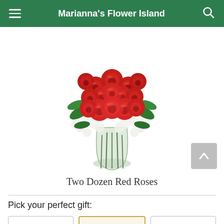Marianna's Flower Island
[Figure (photo): A bouquet of two dozen red roses arranged in a clear glass vase with white baby's breath and green leaves.]
Two Dozen Red Roses
Pick your perfect gift: